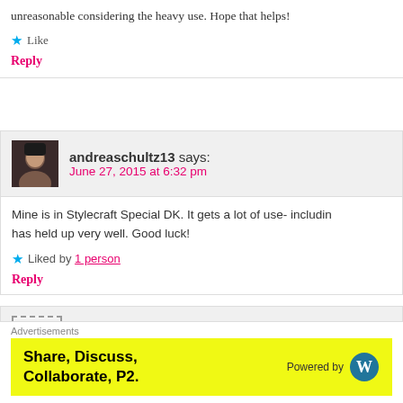unreasonable considering the heavy use. Hope that helps!
Like
Reply
andreaschultz13 says:
June 27, 2015 at 6:32 pm
Mine is in Stylecraft Special DK. It gets a lot of use- includin has held up very well. Good luck!
Liked by 1 person
Reply
carmen says:
June 22, 2015 at 4:12 am
Advertisements
[Figure (screenshot): Yellow advertisement banner: Share, Discuss, Collaborate, P2. Powered by WordPress logo.]